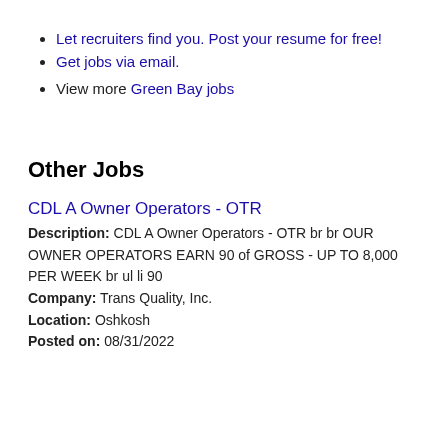Let recruiters find you. Post your resume for free!
Get jobs via email.
View more Green Bay jobs
Other Jobs
CDL A Owner Operators - OTR
Description: CDL A Owner Operators - OTR br br OUR OWNER OPERATORS EARN 90 of GROSS - UP TO 8,000 PER WEEK br ul li 90
Company: Trans Quality, Inc.
Location: Oshkosh
Posted on: 08/31/2022